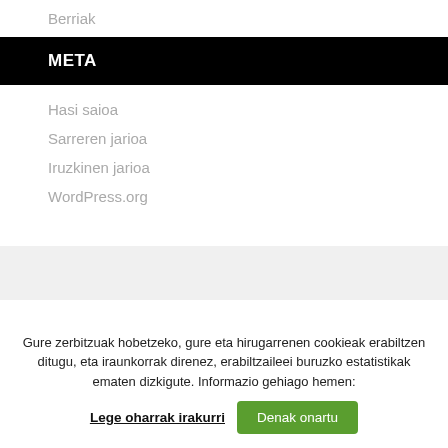Berriak
META
Hasi saioa
Sarreren jarioa
Iruzkinen jarioa
WordPress.org
Gure zerbitzuak hobetzeko, gure eta hirugarrenen cookieak erabiltzen ditugu, eta iraunkorrak direnez, erabiltzaileei buruzko estatistikak ematen dizkigute. Informazio gehiago hemen:
Lege oharrak irakurri
Denak onartu